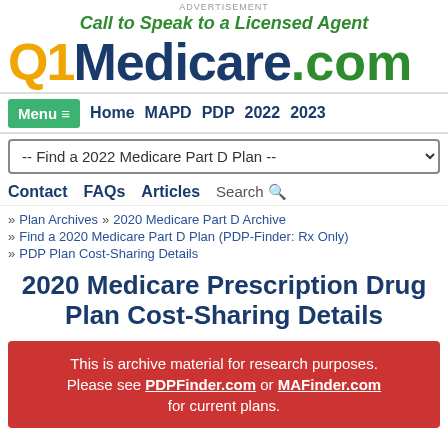Advertisement
Call to Speak to a Licensed Agent
[Figure (logo): Q1Medicare.com logo with Q1 in orange, Medicare in dark blue, .com in green]
Menu | Home | MAPD | PDP | 2022 | 2023
-- Find a 2022 Medicare Part D Plan --
Contact | FAQs | Articles | Search
» Plan Archives » 2020 Medicare Part D Archive
» Find a 2020 Medicare Part D Plan (PDP-Finder: Rx Only)
» PDP Plan Cost-Sharing Details
2020 Medicare Prescription Drug Plan Cost-Sharing Details
This is archive material for research purposes. Please see PDPFinder.com or MAFinder.com for current plans.